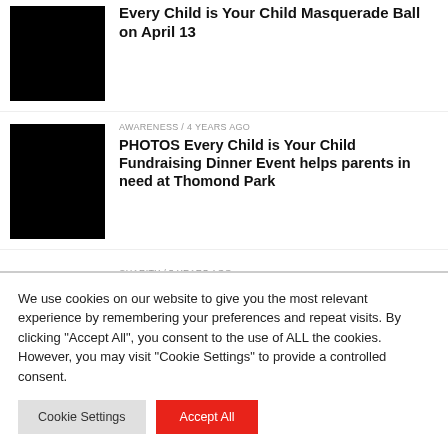[Figure (photo): Black square thumbnail image]
Every Child is Your Child Masquerade Ball on April 13
AWARENESS / 4 years ago
[Figure (photo): Black square thumbnail image]
PHOTOS Every Child is Your Child Fundraising Dinner Event helps parents in need at Thomond Park
CHARITY / 5 years ago
[Figure (logo): Every Child is Your Child circular red logo with illustrated figures]
Every Child is Your Child Dinner Evening
We use cookies on our website to give you the most relevant experience by remembering your preferences and repeat visits. By clicking "Accept All", you consent to the use of ALL the cookies. However, you may visit "Cookie Settings" to provide a controlled consent.